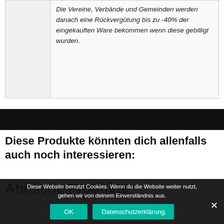|  |  |
| --- | --- |
|  | Die Vereine, Verbände und Gemeinden werden danach eine Rückvergütung bis zu -40% der eingekauften Ware bekommen wenn diese gebilligt wurden. |
Diese Produkte könnten dich allenfalls auch noch interessieren:
Ähnliche Produkte
Diese Website benutzt Cookies. Wenn du die Website weiter nutzt, gehen wir von deinem Einverständnis aus.